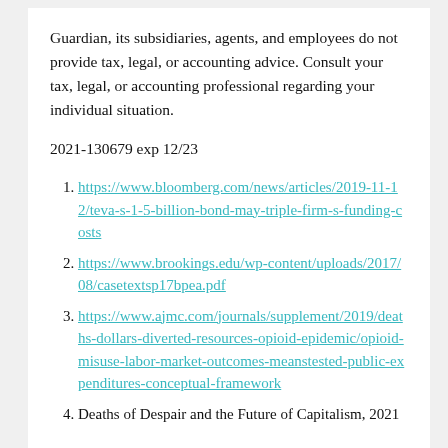Guardian, its subsidiaries, agents, and employees do not provide tax, legal, or accounting advice. Consult your tax, legal, or accounting professional regarding your individual situation.
2021-130679 exp 12/23
https://www.bloomberg.com/news/articles/2019-11-12/teva-s-1-5-billion-bond-may-triple-firm-s-funding-costs
https://www.brookings.edu/wp-content/uploads/2017/08/casetextsp17bpea.pdf
https://www.ajmc.com/journals/supplement/2019/deaths-dollars-diverted-resources-opioid-epidemic/opioid-misuse-labor-market-outcomes-meanstested-public-expenditures-conceptual-framework
Deaths of Despair and the Future of Capitalism, 2021